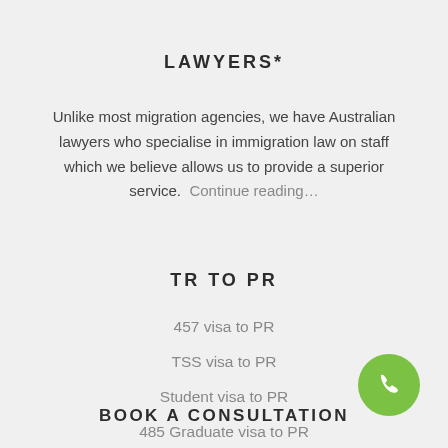LAWYERS*
Unlike most migration agencies, we have Australian lawyers who specialise in immigration law on staff which we believe allows us to provide a superior service.  Continue reading…
TR TO PR
457 visa to PR
TSS visa to PR
Student visa to PR
485 Graduate visa to PR
NZ citizen to AU PR
BOOK A CONSULTATION
[Figure (illustration): Green circular phone/call button icon in the bottom right corner]